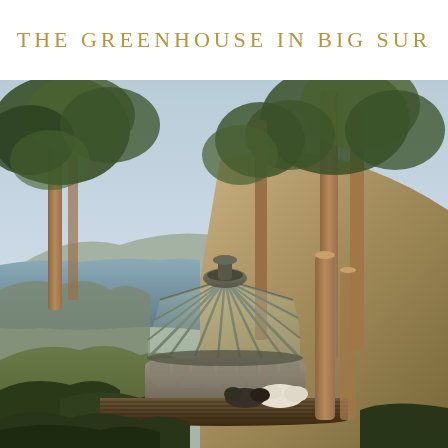THE GREENHOUSE IN BIG SUR
[Figure (photo): Aerial/elevated photograph of a glass greenhouse structure with a conical/dome-shaped roof, built with stone walls, situated on a dramatic coastal cliff in Big Sur, California. Trees (eucalyptus) frame the scene, with the Pacific Ocean and rugged coastline visible in the background. Dogs or cats rest on a wooden deck surrounding the greenhouse. The light suggests late afternoon golden hour.]